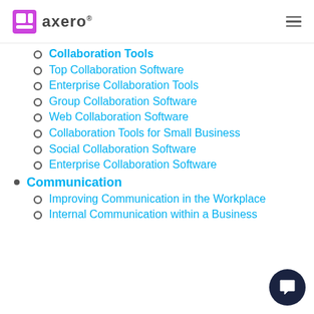axero
Collaboration Tools
Top Collaboration Software
Enterprise Collaboration Tools
Group Collaboration Software
Web Collaboration Software
Collaboration Tools for Small Business
Social Collaboration Software
Enterprise Collaboration Software
Communication
Improving Communication in the Workplace
Internal Communication within a Business